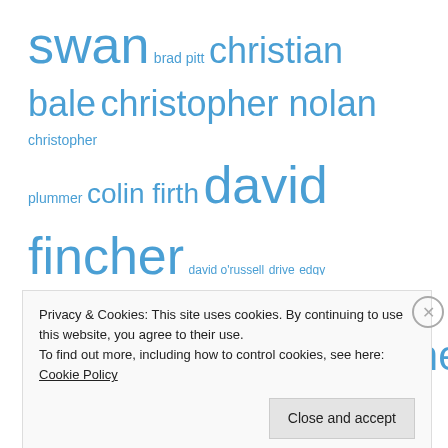[Figure (infographic): A tag cloud of movie/entertainment related keywords in various font sizes, all in blue color. Terms include: swan, brad pitt, christian bale, christopher nolan, christopher plummer, colin firth, david fincher, david o'russell, drive, edgy, awards, george clooney, golden globes, hfpa, hugo, inception, inside job, james franco, jeff bridges, jennifer lawrence, jesse eisenberg, john hawkes, les miserables, lincoln, melissa leo, Michelle Williams, midnight in paris, moneyball, movie, natalie portman, new, nominations, Oscar, oscars, poster, predictions, review, Ryan Gosling, steven spielberg, the]
Privacy & Cookies: This site uses cookies. By continuing to use this website, you agree to their use.
To find out more, including how to control cookies, see here: Cookie Policy
Close and accept